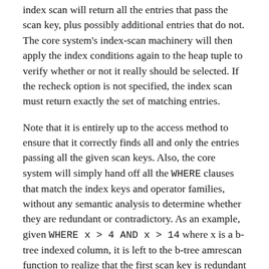index scan will return all the entries that pass the scan key, plus possibly additional entries that do not. The core system's index-scan machinery will then apply the index conditions again to the heap tuple to verify whether or not it really should be selected. If the recheck option is not specified, the index scan must return exactly the set of matching entries.
Note that it is entirely up to the access method to ensure that it correctly finds all and only the entries passing all the given scan keys. Also, the core system will simply hand off all the WHERE clauses that match the index keys and operator families, without any semantic analysis to determine whether they are redundant or contradictory. As an example, given WHERE x > 4 AND x > 14 where x is a b-tree indexed column, it is left to the b-tree amrescan function to realize that the first scan key is redundant and can be discarded. The extent of preprocessing needed during amrescan will depend on the extent to which the index access method needs to reduce the scan keys to a "normalized" form.